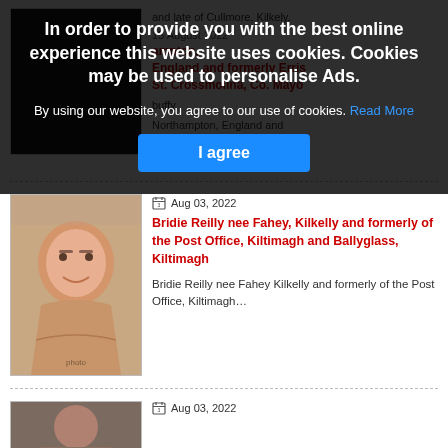[Figure (photo): Cookie consent overlay dialog with dark semi-transparent background covering top portion of the page]
In order to provide you with the best online experience this website uses cookies. Cookies may be used to personalise Ads.
By using our website, you agree to our use of cookies. Read More
I agree
and late of Cullmore, Kilkely.
15 August 2022
ampton, England and formerly Erris St. Crossmolina, Co. Mayo
buffy
Northampton, England and formerly Erris St. Crossmolina, Co. Mayo -…
Aug 03, 2022
Bridie Reilly nee Fahey, Kilkelly and formerly of the Post Office, Kiltimagh and Ballyglass, Kiltimagh
Bridie Reilly nee Fahey Kilkelly and formerly of the Post Office, Kiltimagh…
Aug 03, 2022